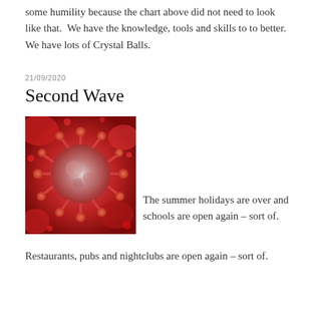some humility because the chart above did not need to look like that.  We have the knowledge, tools and skills to to better.  We have lots of Crystal Balls.
21/09/2020
Second Wave
[Figure (photo): Close-up microscopic image of a coronavirus particle, pink/red and grey tones with spike proteins visible]
The summer holidays are over and schools are open again – sort of.
Restaurants, pubs and nightclubs are open again – sort of.